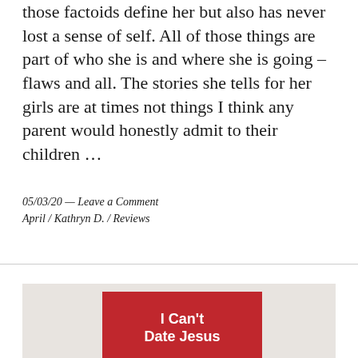those factoids define her but also has never lost a sense of self. All of those things are part of who she is and where she is going – flaws and all. The stories she tells for her girls are at times not things I think any parent would honestly admit to their children …
05/03/20 — Leave a Comment
April / Kathryn D. / Reviews
[Figure (photo): Photo of a book cover: red cover with white text reading 'I Can't Date Jesus' on a white fabric/textured background]